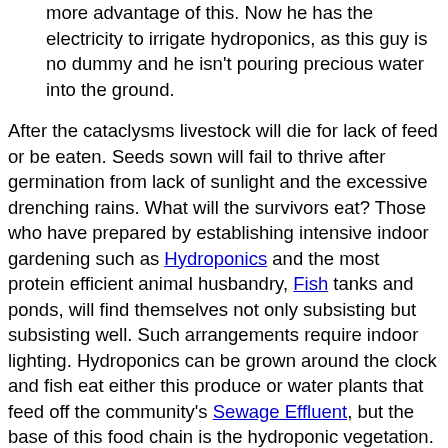more advantage of this. Now he has the electricity to irrigate hydroponics, as this guy is no dummy and he isn't pouring precious water into the ground.
After the cataclysms livestock will die for lack of feed or be eaten. Seeds sown will fail to thrive after germination from lack of sunlight and the excessive drenching rains. What will the survivors eat? Those who have prepared by establishing intensive indoor gardening such as Hydroponics and the most protein efficient animal husbandry, Fish tanks and ponds, will find themselves not only subsisting but subsisting well. Such arrangements require indoor lighting. Hydroponics can be grown around the clock and fish eat either this produce or water plants that feed off the community's Sewage Effluent, but the base of this food chain is the hydroponic vegetation. For plants, light is life, for without it plants die. Such indoor farming, in place prior to the cataclysms, should not rely on lighting from either the Sun or the utility companies. Both will in essence go out during the decades...